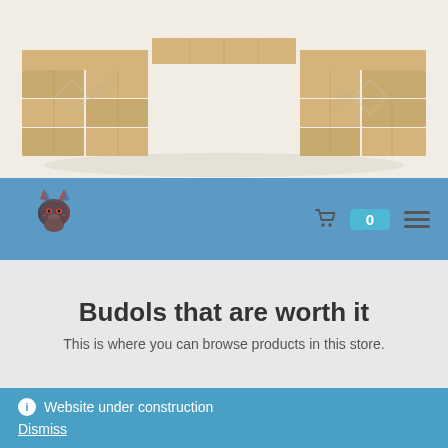[Figure (photo): Photo of wooden building blocks arranged in an arch/bridge shape against a white background, with stock photo watermark overlay]
[Figure (logo): Lynx/wildcat head logo with red and blue chromatic aberration effect, colored in dark red, red, and blue tones]
Budols that are worth it
This is where you can browse products in this store.
Website under construction
Dismiss